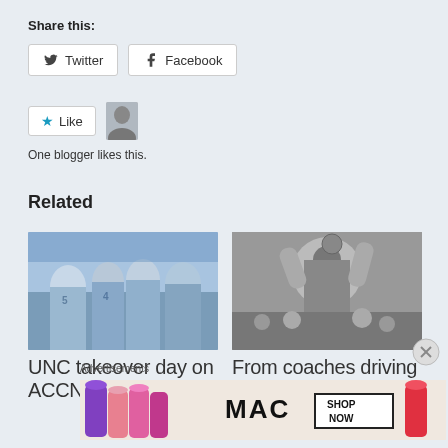Share this:
Twitter  Facebook
Like
One blogger likes this.
Related
[Figure (photo): UNC basketball team players in blue uniforms gathered together]
UNC takeover day on ACCN
[Figure (photo): Black and white photo of a basketball player shooting with arms raised]
From coaches driving team
Advertisements
[Figure (photo): MAC cosmetics advertisement showing lipsticks with SHOP NOW button]